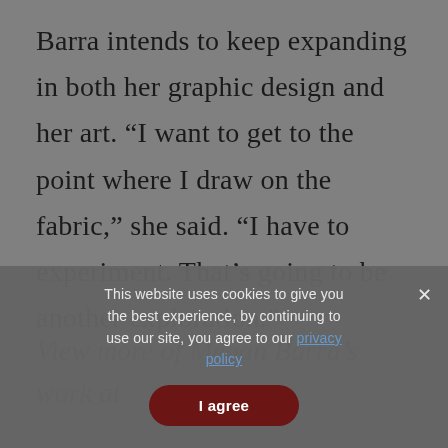Barra intends to keep expanding in both her graphic design and her art. “I want to get to the point where I draw on the fabric,” she said. “I have to experiment. That’s going to be another exploration.”
View more of Megan Barra’s work at
This website uses cookies to give you the best experience, by continuing to use our site, you agree to our privacy policy
I agree